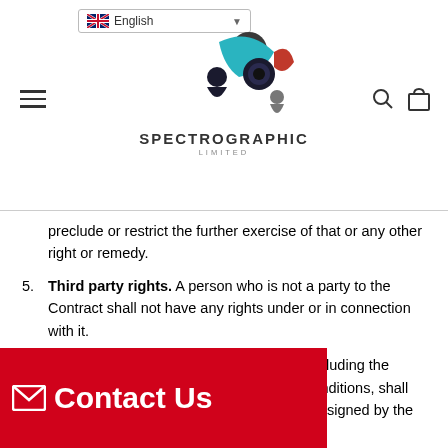Spectrographic Limited — website header with language selector, navigation, logo, search and cart icons
preclude or restrict the further exercise of that or any other right or remedy.
5. Third party rights. A person who is not a party to the Contract shall not have any rights under or in connection with it.
6. Variation. Any variation to the Contract, including the introduction of any additional terms and conditions, shall only be binding when agreed in writing and signed by the Customer.
7. Governing law and jurisdiction. The Contract, and any dispute or claim arising out of or in connection with its subject matter or formation (including non-contractual disputes or claims), shall be governed by, and construed in accordance with, English law, and